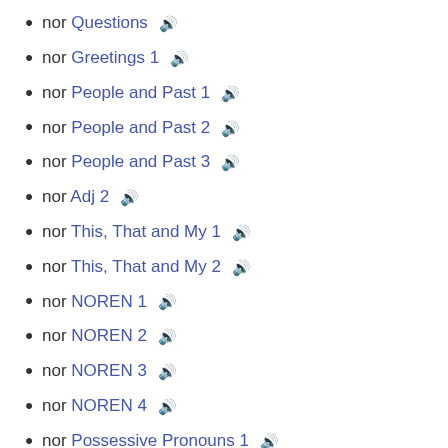nor Questions 🔊
nor Greetings 1 🔊
nor People and Past 1 🔊
nor People and Past 2 🔊
nor People and Past 3 🔊
nor Adj 2 🔊
nor This, That and My 1 🔊
nor This, That and My 2 🔊
nor NOREN 1 🔊
nor NOREN 2 🔊
nor NOREN 3 🔊
nor NOREN 4 🔊
nor Possessive Pronouns 1 🔊
nor Possessive Pronouns 2 🔊
nor Possessive Pronouns 3 🔊
nor Egon 1 🔊